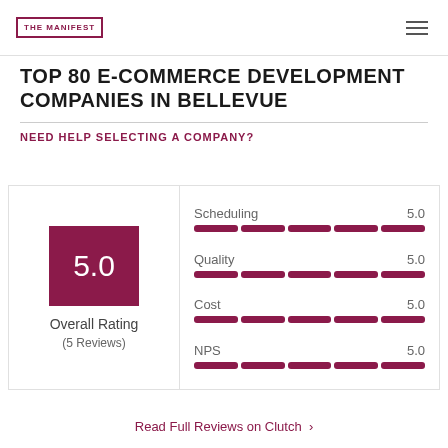THE MANIFEST
TOP 80 E-COMMERCE DEVELOPMENT COMPANIES IN BELLEVUE
NEED HELP SELECTING A COMPANY?
[Figure (infographic): Rating card showing Overall Rating of 5.0 based on 5 Reviews, with sub-scores: Scheduling 5.0, Quality 5.0, Cost 5.0, NPS 5.0, each shown with a 5-segment dark red bar.]
Read Full Reviews on Clutch >